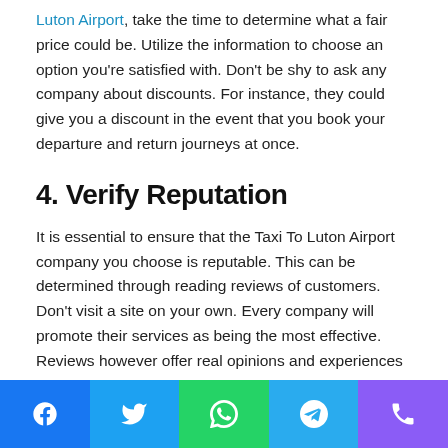Luton Airport, take the time to determine what a fair price could be. Utilize the information to choose an option you're satisfied with. Don't be shy to ask any company about discounts. For instance, they could give you a discount in the event that you book your departure and return journeys at once.
4. Verify Reputation
It is essential to ensure that the Taxi To Luton Airport company you choose is reputable. This can be determined through reading reviews of customers. Don't visit a site on your own. Every company will promote their services as being the most effective. Reviews however offer real opinions and experiences of people who have utilized the service.
[Figure (other): Social share/contact footer bar with five buttons: Facebook (blue), Twitter (light blue), WhatsApp (green), Telegram (cyan/blue), Phone (purple)]